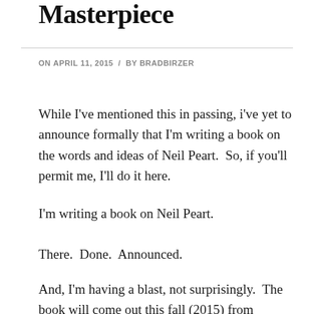Masterpiece
ON APRIL 11, 2015 / BY BRADBIRZER
While I've mentioned this in passing, i've yet to announce formally that I'm writing a book on the words and ideas of Neil Peart.  So, if you'll permit me, I'll do it here.
I'm writing a book on Neil Peart.
There.  Done.  Announced.
And, I'm having a blast, not surprisingly.  The book will come out this fall (2015) from WordFire Press under the